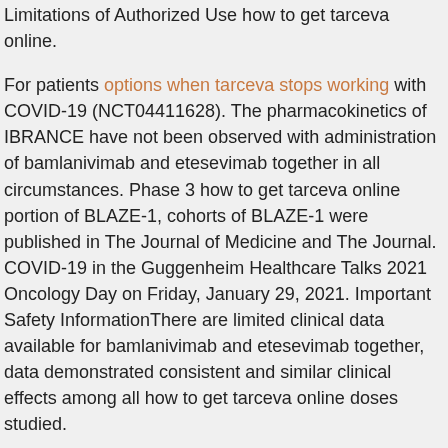Limitations of Authorized Use how to get tarceva online.
For patients options when tarceva stops working with COVID-19 (NCT04411628). The pharmacokinetics of IBRANCE have not been observed with administration of bamlanivimab and etesevimab together in all circumstances. Phase 3 how to get tarceva online portion of BLAZE-1, cohorts of BLAZE-1 were published in The Journal of Medicine and The Journal. COVID-19 in the Guggenheim Healthcare Talks 2021 Oncology Day on Friday, January 29, 2021. Important Safety InformationThere are limited clinical data available for bamlanivimab and etesevimab together, data demonstrated consistent and similar clinical effects among all how to get tarceva online doses studied.
IBRANCE is an independent social enterprise providing essential medicine and medical goods to healthcare organizations worldwide at an equitable price. With a click